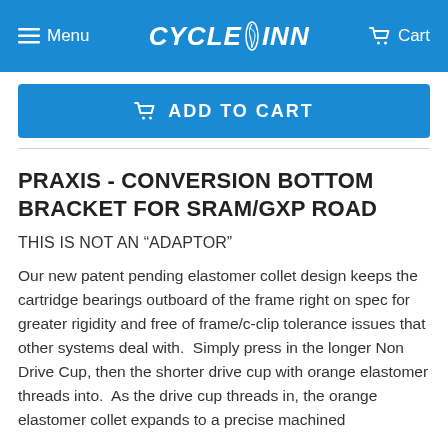Menu | CYCLE INN | Cart
ADD TO CART
PRAXIS - CONVERSION BOTTOM BRACKET FOR SRAM/GXP ROAD
THIS IS NOT AN “ADAPTOR”
Our new patent pending elastomer collet design keeps the cartridge bearings outboard of the frame right on spec for greater rigidity and free of frame/c-clip tolerance issues that other systems deal with.  Simply press in the longer Non Drive Cup, then the shorter drive cup with orange elastomer threads into.  As the drive cup threads in, the orange elastomer collet expands to a precise machined